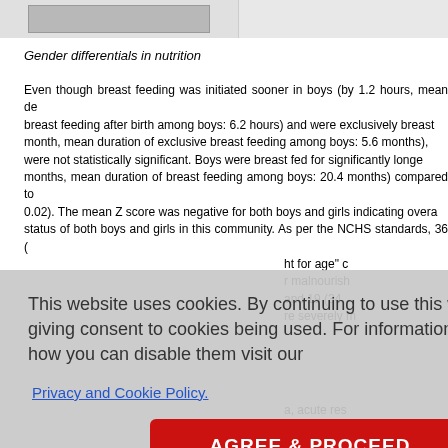[Figure (other): Top bar with thumbnail image on left and grey area on right]
Gender differentials in nutrition
Even though breast feeding was initiated sooner in boys (by 1.2 hours, mean de breast feeding after birth among boys: 6.2 hours) and were exclusively breast month, mean duration of exclusive breast feeding among boys: 5.6 months), were not statistically significant. Boys were breast fed for significantly longe months, mean duration of breast feeding among boys: 20.4 months) compared to 0.02). The mean Z score was negative for both boys and girls indicating overa status of both boys and girls in this community. As per the NCHS standards, 36 ( ht for age" c malnourish and 19 (34 re severely m
a, acute res 35, and 35 me period. ely. There w lence of co illnesses and their treatment-seeking, which was consistently high. Private hea
This website uses cookies. By continuing to use this website you are giving consent to cookies being used. For information on cookies and how you can disable them visit our
Privacy and Cookie Policy.
AGREE & PROCEED